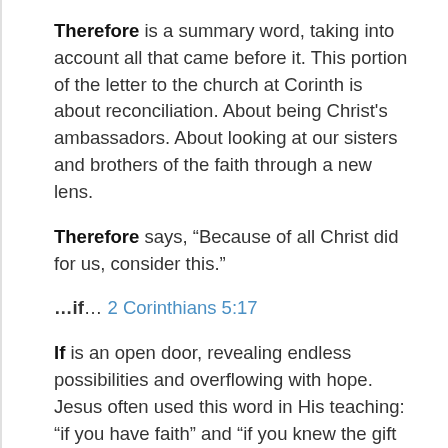Therefore is a summary word, taking into account all that came before it. This portion of the letter to the church at Corinth is about reconciliation. About being Christ's ambassadors. About looking at our sisters and brothers of the faith through a new lens.
Therefore says, "Because of all Christ did for us, consider this."
...if... 2 Corinthians 5:17
If is an open door, revealing endless possibilities and overflowing with hope. Jesus often used this word in His teaching: "if you have faith" and "if you knew the gift of God" and "if you remain in me."